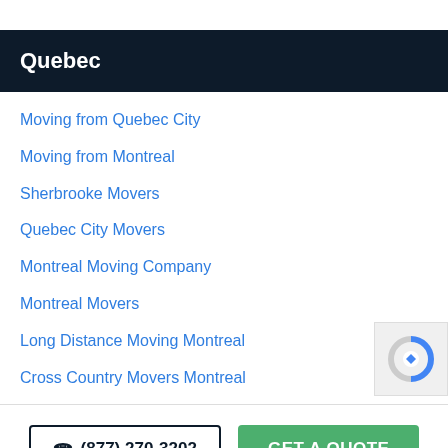Quebec
Moving from Quebec City
Moving from Montreal
Sherbrooke Movers
Quebec City Movers
Montreal Moving Company
Montreal Movers
Long Distance Moving Montreal
Cross Country Movers Montreal
☎ (877) 270-3202
GET A QUOTE